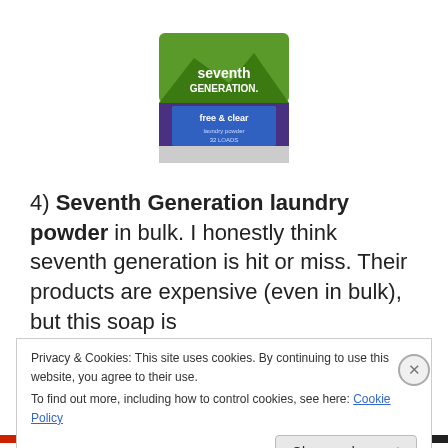[Figure (photo): Seventh Generation laundry powder product box with green mountain imagery and purple label]
4) Seventh Generation laundry powder in bulk.  I honestly think seventh generation is hit or miss.  Their products are expensive (even in bulk), but this soap is
Privacy & Cookies: This site uses cookies. By continuing to use this website, you agree to their use.
To find out more, including how to control cookies, see here: Cookie Policy
Close and accept